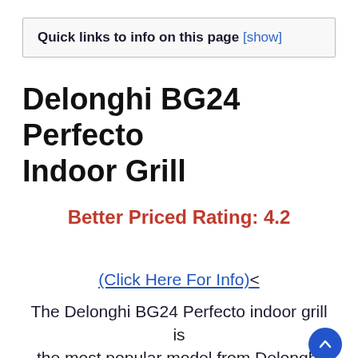Quick links to info on this page [show]
Delonghi BG24 Perfecto Indoor Grill
Better Priced Rating: 4.2
(Click Here For Info)<
The Delonghi BG24 Perfecto indoor grill is the most popular model from Delonghi and